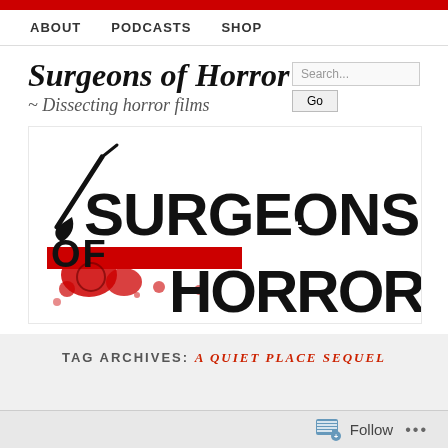ABOUT   PODCASTS   SHOP
Surgeons of Horror ~ Dissecting horror films
[Figure (logo): Surgeons of Horror logo with scalpel graphic, bold black text 'SURGEONS OF HORROR' and red blood splatter elements]
TAG ARCHIVES: A QUIET PLACE SEQUEL